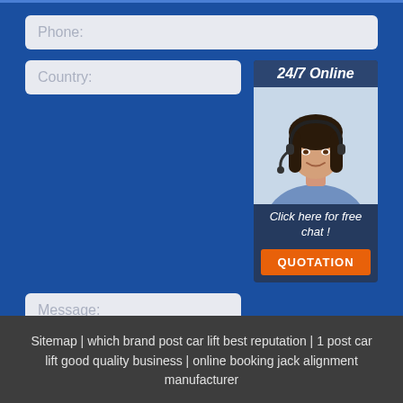Phone:
Country:
[Figure (photo): Customer service representative with headset, smiling. Overlaid with '24/7 Online' header, 'Click here for free chat!' text, and QUOTATION button.]
Message:
Submit Now
Sitemap | which brand post car lift best reputation | 1 post car lift good quality business | online booking jack alignment manufacturer